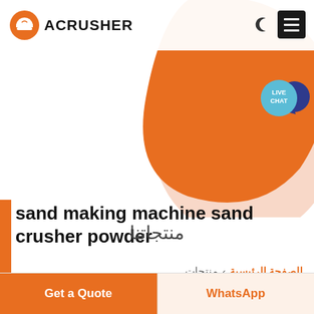[Figure (logo): Acrusher brand logo with orange hard-hat icon and bold uppercase ACRUSHER text]
sand making machine sand crusher powder
منتجات › الصفحة الرئيسية
منتجاتنا
Get a Quote
WhatsApp